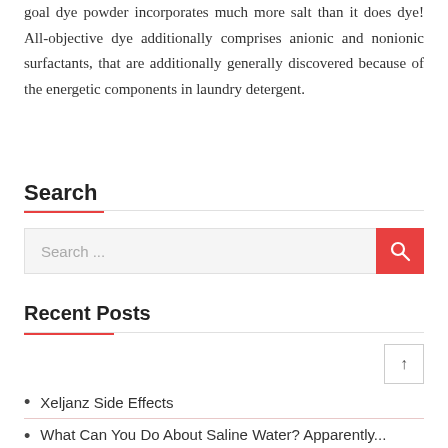goal dye powder incorporates much more salt than it does dye! All-objective dye additionally comprises anionic and nonionic surfactants, that are additionally generally discovered because of the energetic components in laundry detergent.
Search
Search ...
Recent Posts
Xeljanz Side Effects
What Can You Do About Saline Water? Apparently...